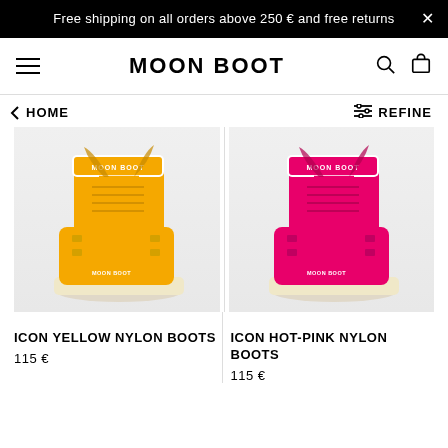Free shipping on all orders above 250 € and free returns
[Figure (logo): Moon Boot brand logo and navigation bar with hamburger menu, search icon, and cart icon]
< HOME   REFINE
[Figure (photo): Yellow Moon Boot Icon Nylon Boot product photo on light grey background]
[Figure (photo): Hot-pink Moon Boot Icon Nylon Boot product photo on light grey background]
ICON YELLOW NYLON BOOTS
115 €
ICON HOT-PINK NYLON BOOTS
115 €